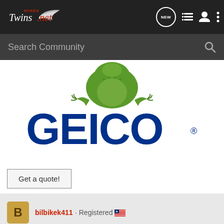[Figure (screenshot): HondaTwins.net navigation bar with logo, NEW button, list icon, user icon, and dots menu icon on dark background]
[Figure (screenshot): Dark gray search bar with 'Search Community' placeholder text and magnifying glass icon]
[Figure (logo): GEICO insurance advertisement with gecko lizard mascot peeking over the GEICO logo text in dark blue]
Get a quote!
bilbikek411 · Registered 🇺🇸
[Figure (screenshot): Forum post preview with blurred/obscured content overlay pattern]